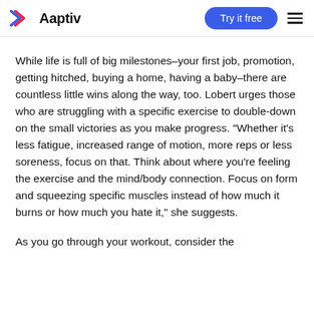Aaptiv | Try it free
While life is full of big milestones–your first job, promotion, getting hitched, buying a home, having a baby–there are countless little wins along the way, too. Lobert urges those who are struggling with a specific exercise to double-down on the small victories as you make progress. “Whether it’s less fatigue, increased range of motion, more reps or less soreness, focus on that. Think about where you’re feeling the exercise and the mind/body connection. Focus on form and squeezing specific muscles instead of how much it burns or how much you hate it,” she suggests.
As you go through your workout, consider the